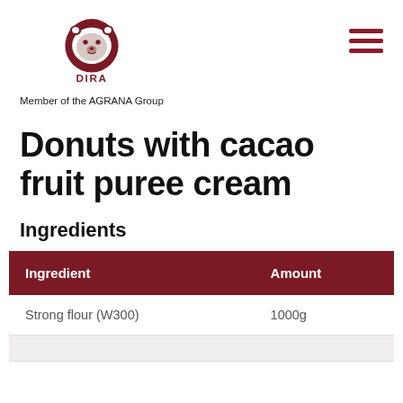[Figure (logo): DIRA bear logo — circular dark red emblem with a polar bear head and the text DIRA below in dark red]
Member of the AGRANA Group
Donuts with cacao fruit puree cream
Ingredients
| Ingredient | Amount |
| --- | --- |
| Strong flour (W300) | 1000g |